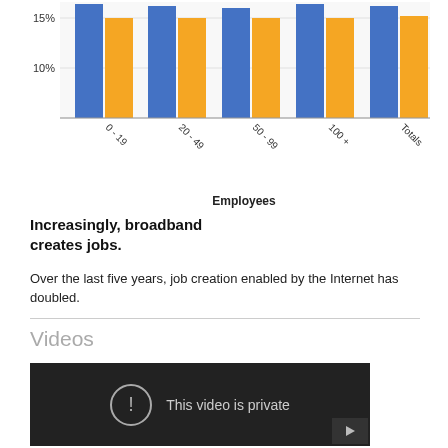[Figure (grouped-bar-chart): ]
Increasingly, broadband creates jobs.
Over the last five years, job creation enabled by the Internet has doubled.
Videos
[Figure (screenshot): Video player showing 'This video is private' message with an exclamation icon and a play button in the bottom right corner.]